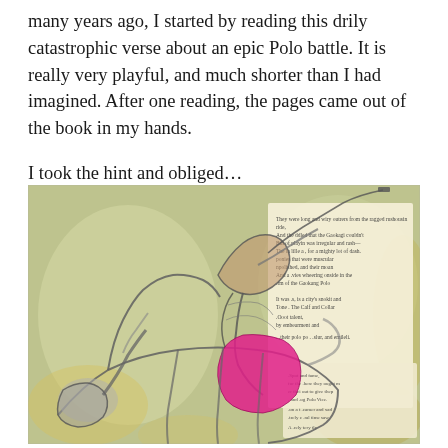many years ago, I started by reading this drily catastrophic verse about an epic Polo battle. It is really very playful, and much shorter than I had imagined. After one reading, the pages came out of the book in my hands.
I took the hint and obliged…
[Figure (illustration): Mixed media artwork showing a figure riding a horse, playing polo. The background is a muted yellow-green textured wash. Overlaid on the image are fragments of printed book pages with text. The rider wears a bright pink/magenta outfit and holds a polo mallet. The horse is rendered in grey pencil/ink lines.]